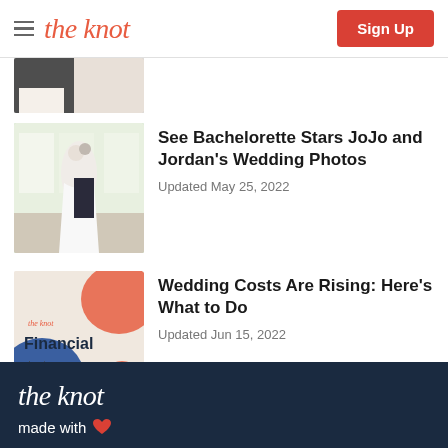the knot | Sign Up
[Figure (photo): Partially visible cropped photo at top of article list]
See Bachelorette Stars JoJo and Jordan's Wedding Photos
Updated May 25, 2022
[Figure (photo): Wedding photo thumbnail showing couple dancing at venue]
Wedding Costs Are Rising: Here's What to Do
Updated Jun 15, 2022
[Figure (photo): The Knot Financial planning article thumbnail with coral and blue design]
View All
the knot
made with ♥